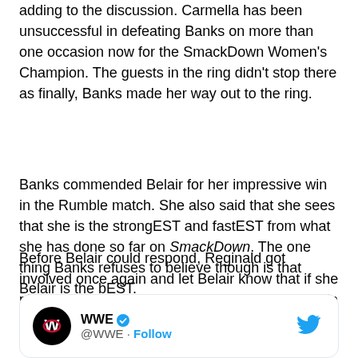adding to the discussion. Carmella has been unsuccessful in defeating Banks on more than one occasion now for the SmackDown Women's Champion. The guests in the ring didn't stop there as finally, Banks made her way out to the ring.
Banks commended Belair for her impressive win in the Rumble match. She also said that she sees that she is the strongEST and fastEST from what she has done so far on SmackDown. The one thing Banks refuses to believe though is that Belair is the bEST.
Before Belair could respond, Reginald got involved once again and let Belair know that if she picks Banks she won't win. Belair would then whip Reginald with her hair as Banks and Carmella looked on to end the segment.
[Figure (screenshot): Tweet card from WWE (@WWE) with Follow link and Twitter bird icon]